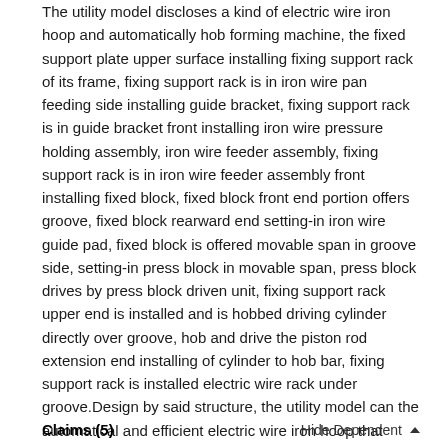The utility model discloses a kind of electric wire iron hoop and automatically hob forming machine, the fixed support plate upper surface installing fixing support rack of its frame, fixing support rack is in iron wire pan feeding side installing guide bracket, fixing support rack is in guide bracket front installing iron wire pressure holding assembly, iron wire feeder assembly, fixing support rack is in iron wire feeder assembly front installing fixed block, fixed block front end portion offers groove, fixed block rearward end setting-in iron wire guide pad, fixed block is offered movable span in groove side, setting-in press block in movable span, press block drives by press block driven unit, fixing support rack upper end is installed and is hobbed driving cylinder directly over groove, hob and drive the piston rod extension end installing of cylinder to hob bar, fixing support rack is installed electric wire rack under groove.Design by said structure, the utility model can the automatical and efficient electric wire iron hoop that completes hob processing and forming, and structural design novelty, automaticity is high, operating efficiency is high and can effectively save labour turnover.
Claims (5)
Hide Dependent